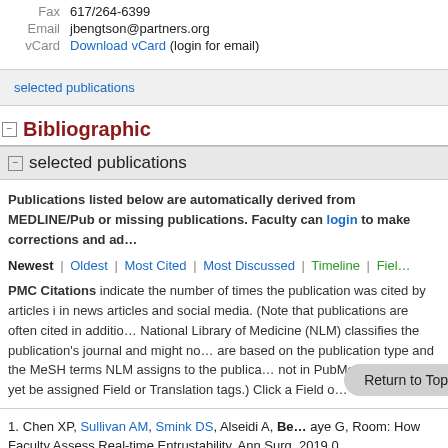Fax  617/264-6399
Email  jbengtson@partners.org
vCard  Download vCard (login for email)
selected publications
Bibliographic
selected publications
Publications listed below are automatically derived from MEDLINE/PubMed or missing publications. Faculty can login to make corrections and add...
Newest | Oldest | Most Cited | Most Discussed | Timeline | Field...
PMC Citations indicate the number of times the publication was cited by articles in news articles and social media. (Note that publications are often cited in addition. National Library of Medicine (NLM) classifies the publication's journal and might not... are based on the publication type and the MeSH terms NLM assigns to the publication... not in PubMed) might not yet be assigned Field or Translation tags.) Click a Field o...
1. Chen XP, Sullivan AM, Smink DS, Alseidi A, Be... aye G, Room: How Faculty Assess Real-time Entrustability. Ann Surg. 2019 0...